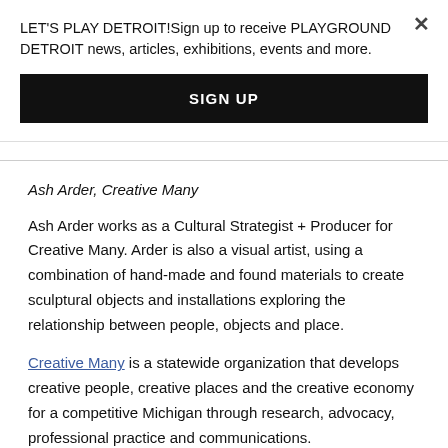LET'S PLAY DETROIT!Sign up to receive PLAYGROUND DETROIT news, articles, exhibitions, events and more.
SIGN UP
Ash Arder, Creative Many
Ash Arder works as a Cultural Strategist + Producer for Creative Many. Arder is also a visual artist, using a combination of hand-made and found materials to create sculptural objects and installations exploring the relationship between people, objects and place.
Creative Many is a statewide organization that develops creative people, creative places and the creative economy for a competitive Michigan through research, advocacy, professional practice and communications.